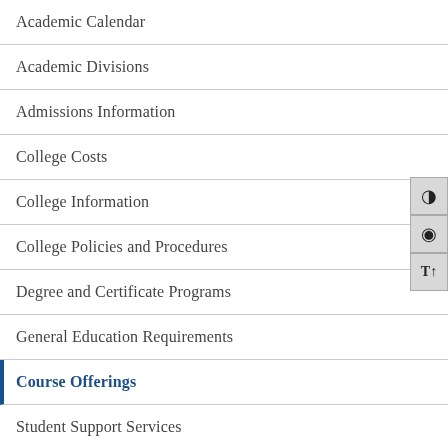Academic Calendar
Academic Divisions
Admissions Information
College Costs
College Information
College Policies and Procedures
Degree and Certificate Programs
General Education Requirements
Course Offerings
Student Support Services
Specialized Programs